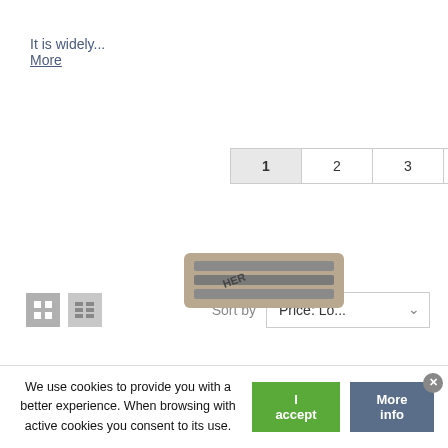It is widely...
More
1 2 3 ... 8 Next »
[Figure (screenshot): View toggle icons (grid and list) and Sort by Price dropdown]
[Figure (photo): Partial image of a harmonica (musical instrument) visible at bottom of page]
We use cookies to provide you with a better experience. When browsing with active cookies you consent to its use.